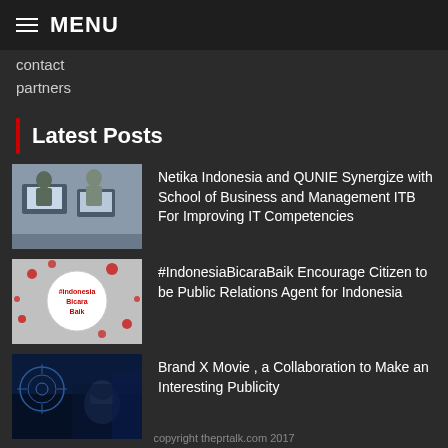MENU
contact
partners
Latest Posts
[Figure (photo): Two people working on laptops in an office setting]
Netika Indonesia and QUNIE Synergize with School of Business and Management ITB For Improving IT Competencies
[Figure (photo): #IndonesiaBicaraBaik logo with red and white design]
#IndonesiaBicaraBaik Encourage Citizen to be Public Relations Agent for Indonesia
[Figure (photo): Person with VR headset in blue-lit environment]
Brand X Movie , a Collaboration to Make an Interesting Publicity
copyright theprtalk.com 2017